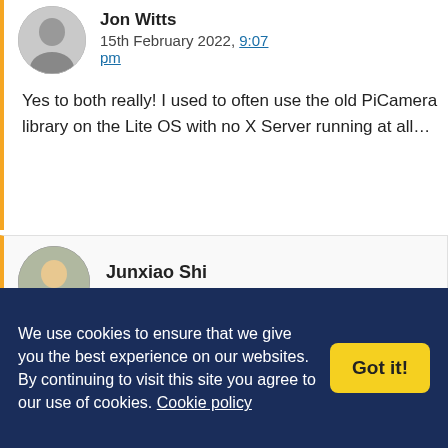Jon Witts
15th February 2022, 9:07 pm

Yes to both really! I used to often use the old PiCamera library on the Lite OS with no X Server running at all…
Junxiao Shi
16th February 2022, 12:51 am

My Picamera code makes use of GPU-based image processing, like this:
We use cookies to ensure that we give you the best experience on our websites. By continuing to visit this site you agree to our use of cookies. Cookie policy